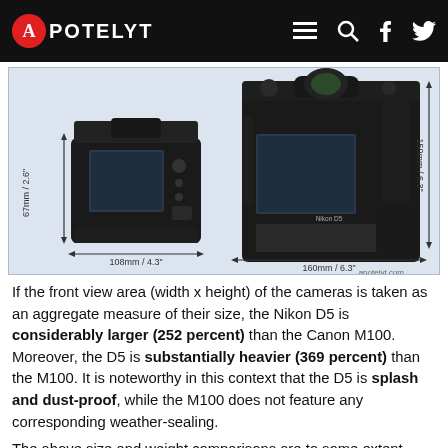APOTELYT
[Figure (photo): Side-by-side size comparison of two cameras: Canon M100 (small, left, 108mm/4.3" wide, 67mm/2.6" tall) and Nikon D5 (large, right, 160mm/6.3" wide, 159mm/6.3" tall), shown from rear, with dimension annotations. Watermark: apotelyt.com]
If the front view area (width x height) of the cameras is taken as an aggregate measure of their size, the Nikon D5 is considerably larger (252 percent) than the Canon M100. Moreover, the D5 is substantially heavier (369 percent) than the M100. It is noteworthy in this context that the D5 is splash and dust-proof, while the M100 does not feature any corresponding weather-sealing.
The above size and weight comparisons are to some extent